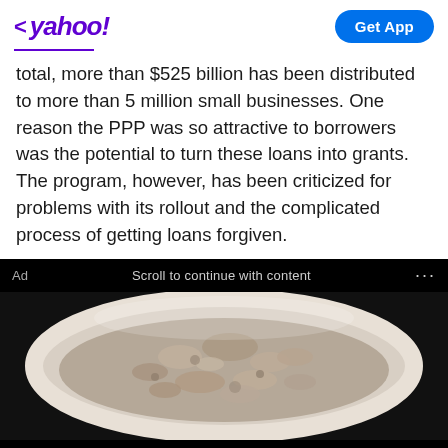< yahoo!  Get App
total, more than $525 billion has been distributed to more than 5 million small businesses. One reason the PPP was so attractive to borrowers was the potential to turn these loans into grants. The program, however, has been criticized for problems with its rollout and the complicated process of getting loans forgiven.
Ad   Scroll to continue with content   ...
[Figure (photo): A bowl of oatmeal viewed from above, close-up photo on black background]
Gundry MD Total Restore
If You Eat Oatmeal Every Day, This Is What